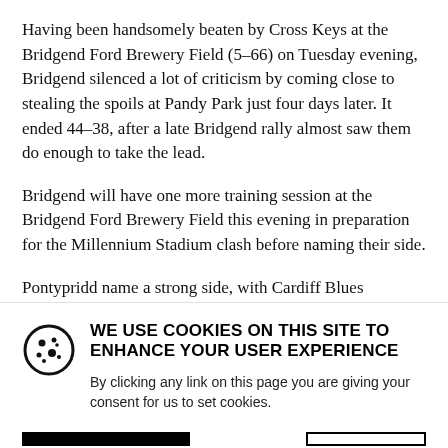Having been handsomely beaten by Cross Keys at the Bridgend Ford Brewery Field (5–66) on Tuesday evening, Bridgend silenced a lot of criticism by coming close to stealing the spoils at Pandy Park just four days later. It ended 44–38, after a late Bridgend rally almost saw them do enough to take the lead.
Bridgend will have one more training session at the Bridgend Ford Brewery Field this evening in preparation for the Millennium Stadium clash before naming their side.
Pontypridd name a strong side, with Cardiff Blues
[Figure (other): Cookie consent icon — a circle with dots representing a cookie]
WE USE COOKIES ON THIS SITE TO ENHANCE YOUR USER EXPERIENCE
By clicking any link on this page you are giving your consent for us to set cookies.